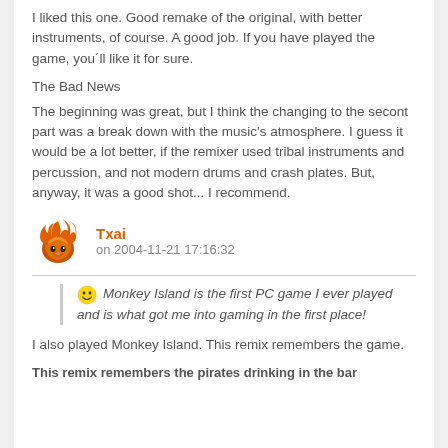I liked this one. Good remake of the original, with better instruments, of course. A good job. If you have played the game, you´ll like it for sure.
The Bad News
The beginning was great, but I think the changing to the secont part was a break down with the music's atmosphere. I guess it would be a lot better, if the remixer used tribal instruments and percussion, and not modern drums and crash plates. But, anyway, it was a good shot... I recommend.
Txai
on 2004-11-21 17:16:32
😁 Monkey Island is the first PC game I ever played and is what got me into gaming in the first place!
I also played Monkey Island. This remix remembers the game.
This remix remembers the pirates drinking in the bar